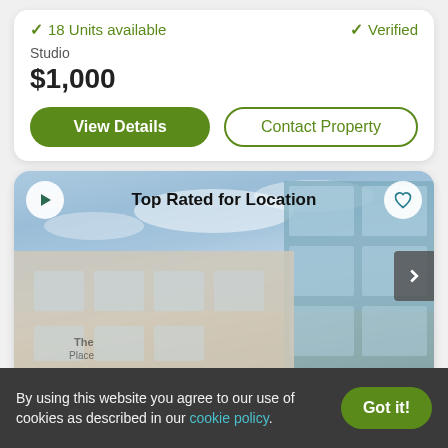18 Units available
Verified
Studio
$1,000
View Details
Contact Property
[Figure (photo): Apartment building exterior photo with glass windows and blue sky. Badge reads 'Top Rated for Location'. Play button top-left, heart icon top-right, right arrow navigation button.]
By using this website you agree to our use of cookies as described in our cookie policy.
Got it!